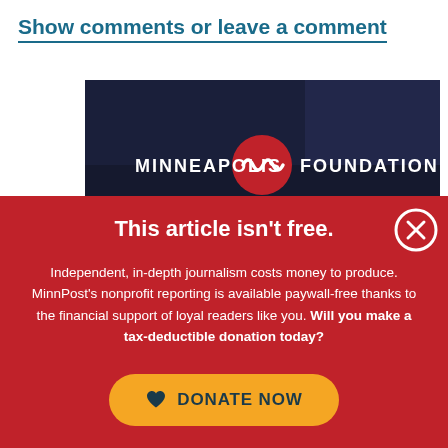Show comments or leave a comment
[Figure (logo): Minneapolis Foundation logo on dark background with crowd photo]
This article isn't free.
Independent, in-depth journalism costs money to produce. MinnPost's nonprofit reporting is available paywall-free thanks to the financial support of loyal readers like you. Will you make a tax-deductible donation today?
[Figure (other): DONATE NOW button with heart icon, yellow/gold rounded rectangle]